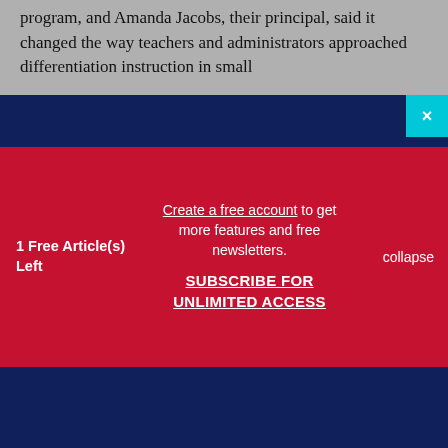program, and Amanda Jacobs, their principal, said it changed the way teachers and administrators approached differentiation instruction in small
1 Free Article(s) Left
Create a free account to get more features and free newsletters. SUBSCRIBE FOR UNLIMITED ACCESS
collapse
Subscribe today for unlimited access to best practices, insights, and solutions.
SUBSCRIBE